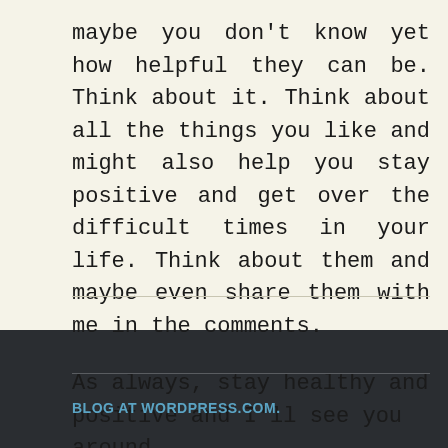maybe you don't know yet how helpful they can be. Think about it. Think about all the things you like and might also help you stay positive and get over the difficult times in your life. Think about them and maybe even share them with me in the comments.
As always, stay healthy and positive and I'll see you around.
BLOG AT WORDPRESS.COM.